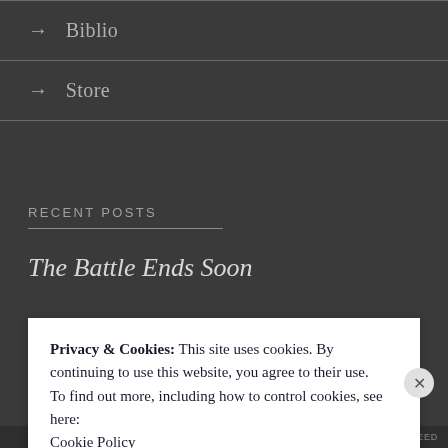→ Biblio
→ Store
RECENT POSTS
The Battle Ends Soon
Privacy & Cookies: This site uses cookies. By continuing to use this website, you agree to their use.
To find out more, including how to control cookies, see here: Cookie Policy
Close and accept
RECENT FEED